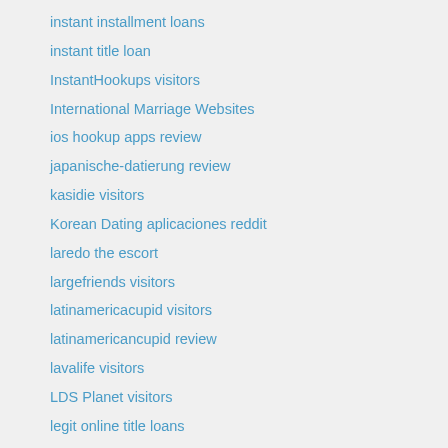instant installment loans
instant title loan
InstantHookups visitors
International Marriage Websites
ios hookup apps review
japanische-datierung review
kasidie visitors
Korean Dating aplicaciones reddit
laredo the escort
largefriends visitors
latinamericacupid visitors
latinamericancupid review
lavalife visitors
LDS Planet visitors
legit online title loans